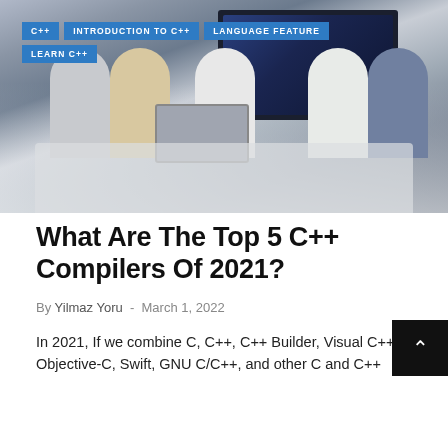[Figure (photo): Group of people gathered around a desk with a laptop, with a large monitor/screen in the background showing data visualizations. Tags overlay the top: C++, INTRODUCTION TO C++, LANGUAGE FEATURE, LEARN C++]
What Are The Top 5 C++ Compilers Of 2021?
By Yilmaz Yoru - March 1, 2022
In 2021, If we combine C, C++, C++ Builder, Visual C++, Objective-C, Swift, GNU C/C++, and other C and C++